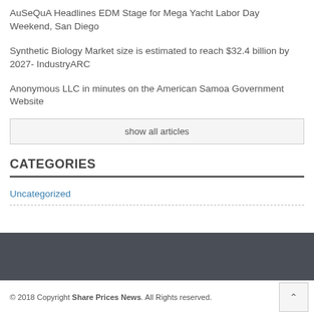AuSeQuA Headlines EDM Stage for Mega Yacht Labor Day Weekend, San Diego
Synthetic Biology Market size is estimated to reach $32.4 billion by 2027- IndustryARC
Anonymous LLC in minutes on the American Samoa Government Website
show all articles
CATEGORIES
Uncategorized
© 2018 Copyright Share Prices News. All Rights reserved.